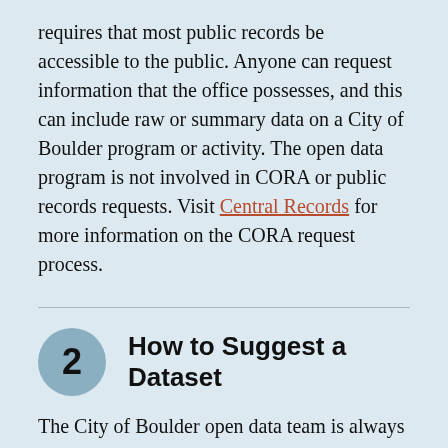requires that most public records be accessible to the public. Anyone can request information that the office possesses, and this can include raw or summary data on a City of Boulder program or activity. The open data program is not involved in CORA or public records requests. Visit Central Records for more information on the CORA request process.
2 How to Suggest a Dataset
The City of Boulder open data team is always adding new datasets and would love suggestions from the public for new topics and